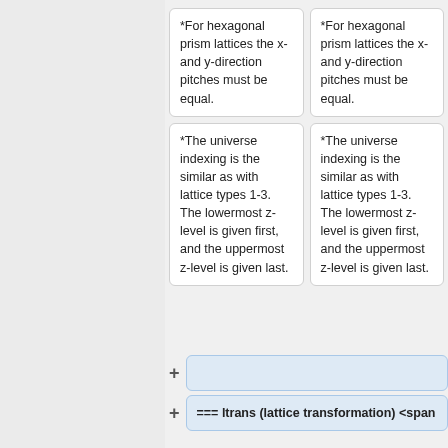*For hexagonal prism lattices the x- and y-direction pitches must be equal.
*For hexagonal prism lattices the x- and y-direction pitches must be equal.
*The universe indexing is the similar as with lattice types 1-3. The lowermost z-level is given first, and the uppermost z-level is given last.
*The universe indexing is the similar as with lattice types 1-3. The lowermost z-level is given first, and the uppermost z-level is given last.
=== ltrans (lattice transformation) <span
[Figure (screenshot): Expand/collapse button row with a light blue empty box]